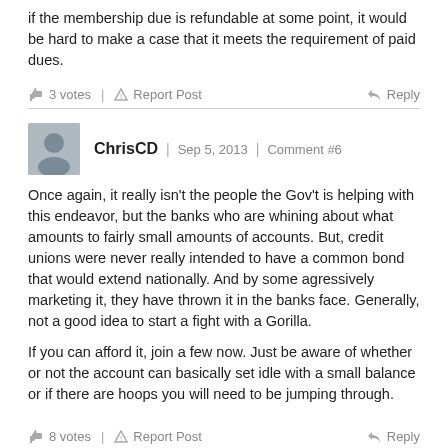if the membership due is refundable at some point, it would be hard to make a case that it meets the requirement of paid dues.
3 votes | Report Post | Reply
ChrisCD | Sep 5, 2013 | Comment #6
Once again, it really isn't the people the Gov't is helping with this endeavor, but the banks who are whining about what amounts to fairly small amounts of accounts.  But, credit unions were never really intended to have a common bond that would extend nationally.  And by some agressively marketing it, they have thrown it in the banks face.  Generally, not a good idea to start a fight with a Gorilla.

If you can afford it, join a few now.  Just be aware of whether or not the account can basically set idle with a small balance or if there are hoops you will need to be jumping through.
8 votes | Report Post | Reply
Anonymous | Sep 5, 2013 | Comment #7
Personally I don't like any CU.  Recently, I spoke to an officer of a local CU about interest rates and her attitude was terrible.  She acted/talked as though she owned the CU.  At that point, I decide no CU for me ever.  So I wasn't surprised by the EWP not being honored.